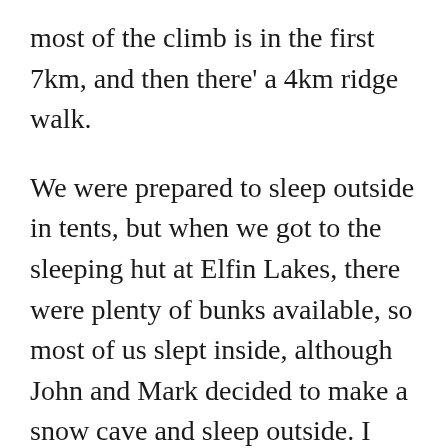most of the climb is in the first 7km, and then there' a 4km ridge walk.
We were prepared to sleep outside in tents, but when we got to the sleeping hut at Elfin Lakes, there were plenty of bunks available, so most of us slept inside, although John and Mark decided to make a snow cave and sleep outside. I kind of wished we would have set up our tents, just so I can say I survived winter camping. But the hut was a lot more comfy than my 3-season tent would have been. In fact, the hut was too warm and full of snorers, but with a pair of ear plugs I slept ok (thanks Dylan!).